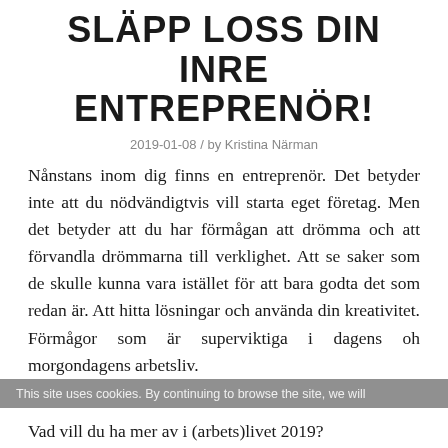SLÄPP LOSS DIN INRE ENTREPRENÖR!
2019-01-08 / by Kristina Närman
Nånstans inom dig finns en entreprenör. Det betyder inte att du nödvändigtvis vill starta eget företag. Men det betyder att du har förmågan att drömma och att förvandla drömmarna till verklighet. Att se saker som de skulle kunna vara istället för att bara godta det som redan är. Att hitta lösningar och använda din kreativitet. Förmågor som är superviktiga i dagens oh morgondagens arbetsliv.
This site uses cookies. By continuing to browse the site, we will
Vad vill du ha mer av i (arbets)livet 2019?